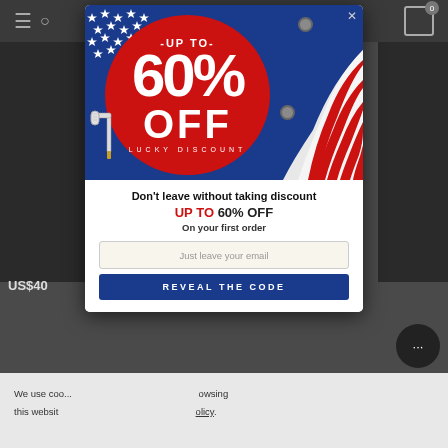[Figure (screenshot): Background of a dimmed e-commerce website showing navigation bar with hamburger menu, search icon, cart icon with badge showing 0, a product image on the left, and a partial price label US$40 visible]
[Figure (infographic): Promotional popup modal with US flag patriotic theme. Top half shows dark blue background with stars, a red circle badge saying -UP TO- 60% OFF LUCKY DISCOUNT, and peeling US flag stripes on the right with a paint roller icon at bottom left. Bottom half shows text 'Don't leave without taking discount', 'UP TO 60% OFF', 'On your first order', email input field 'Just leave your email', and a dark blue button 'REVEAL THE CODE']
Don't leave without taking discount
UP TO 60% OFF
On your first order
Just leave your email
REVEAL THE CODE
We use coo browsing this websit olicy.